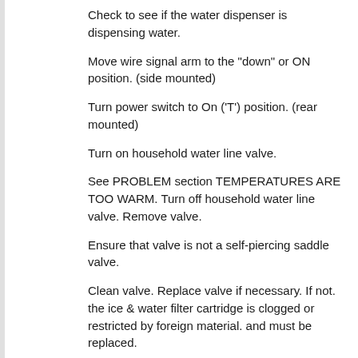Check to see if the water dispenser is dispensing water.
Move wire signal arm to the "down" or ON position. (side mounted)
Turn power switch to On ('T') position. (rear mounted)
Turn on household water line valve.
See PROBLEM section TEMPERATURES ARE TOO WARM. Turn off household water line valve. Remove valve.
Ensure that valve is not a self-piercing saddle valve.
Clean valve. Replace valve if necessary. If not. the ice & water filter cartridge is clogged or restricted by foreign material. and must be replaced.